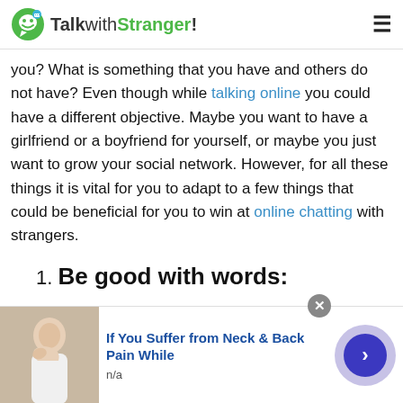TalkwithStranger!
you? What is something that you have and others do not have? Even though while talking online you could have a different objective. Maybe you want to have a girlfriend or a boyfriend for yourself, or maybe you just want to grow your social network. However, for all these things it is vital for you to adapt to a few things that could be beneficial for you to win at online chatting with strangers.
1. Be good with words:
The very first and non-visual impact that you will
[Figure (screenshot): Advertisement banner: 'If You Suffer from Neck & Back Pain While' with thumbnail image of person holding neck, n/a label, and blue arrow button with purple halo.]